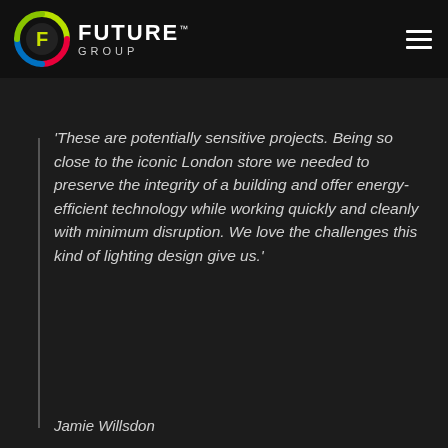compromise on lighting design, efficiency or
[Figure (logo): Future Group logo: circular icon with stylized F in green/yellow/red/blue segments, followed by FUTURE GROUP text in white]
‘These are potentially sensitive projects. Being so close to the iconic London store we needed to preserve the integrity of a building and offer energy-efficient technology while working quickly and cleanly with minimum disruption. We love the challenges this kind of lighting design give us.’
Jamie Willsdon